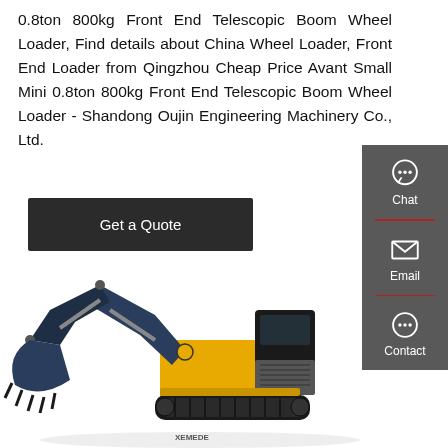0.8ton 800kg Front End Telescopic Boom Wheel Loader, Find details about China Wheel Loader, Front End Loader from Qingzhou Cheap Price Avant Small Mini 0.8ton 800kg Front End Telescopic Boom Wheel Loader - Shandong Oujin Engineering Machinery Co., Ltd.
[Figure (other): Get a Quote button - dark rectangular button with white text]
[Figure (other): Right sidebar with Chat, Email, and Contact icons on dark grey background with red dividers]
[Figure (photo): Large yellow and black excavator/wheel loader machine with telescopic boom and bucket attachment]